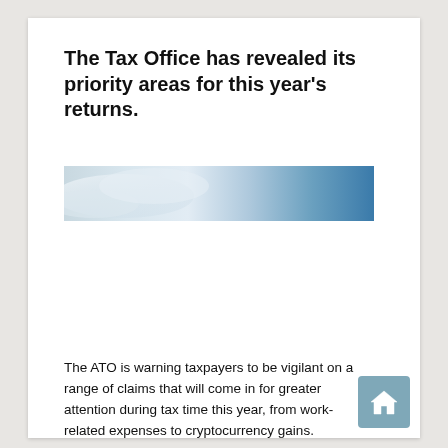The Tax Office has revealed its priority areas for this year's returns.
[Figure (photo): Wide horizontal banner photo showing a sky scene with clouds and blue sky, gradient from silvery-white on the left to deep blue on the right.]
The ATO is warning taxpayers to be vigilant on a range of claims that will come in for greater attention during tax time this year, from work-related expenses to cryptocurrency gains.